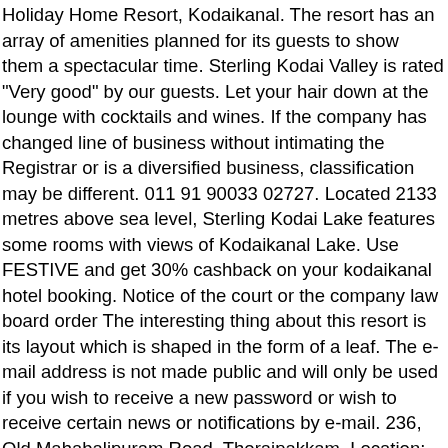Holiday Home Resort, Kodaikanal. The resort has an array of amenities planned for its guests to show them a spectacular time. Sterling Kodai Valley is rated "Very good" by our guests. Let your hair down at the lounge with cocktails and wines. If the company has changed line of business without intimating the Registrar or is a diversified business, classification may be different. 011 91 90033 02727. Located 2133 metres above sea level, Sterling Kodai Lake features some rooms with views of Kodaikanal Lake. Use FESTIVE and get 30% cashback on your kodaikanal hotel booking. Notice of the court or the company law board order The interesting thing about this resort is its layout which is shaped in the form of a leaf. The e-mail address is not made public and will only be used if you wish to receive a new password or wish to receive certain news or notifications by e-mail. 236, Old Mahabalipuram Road, Thoraipakkam. Location: Kurinji Andavar Temple Road, Kodaikanal, Tamil Nadu. Enjoy the rest of the day at your leisure engaged in all sorts of experiences at Sterling Kodai Valley Kodaikanal. Sprawling over 2 acres of land in the heart of Kodaikanal, Kodai Resort Hotel is an award-winning luxury resort in Kodaikanal offering guests 50 cottages at affordable rates with unmatched luxury and comfort and is at a walkable distance to key attractions like the Lake, Coaker's Walk, Bryant Park, and the city shopping area. This question is for testing whether or not you are a human visitor and to prevent automated spam submissions. Built on the lines of English country homes, Sterling Kodai Lake has a resort that...